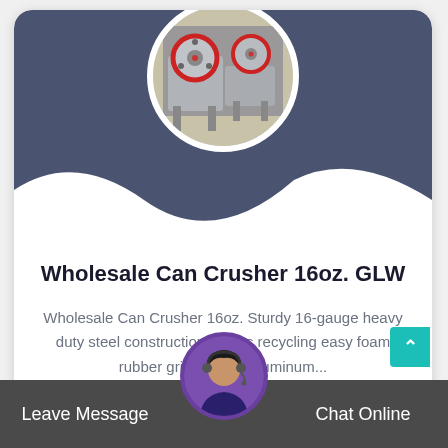[Figure (photo): Industrial jaw crusher machine shown in a circular cropped photo with white border, at the top of a product card. The machine has red-rimmed flywheels and gray steel body.]
Wholesale Can Crusher 16oz. GLW
Wholesale Can Crusher 16oz. Sturdy 16-gauge heavy duty steel construction makes recycling easy foam rubber grip handle. Aluminum...
[Figure (photo): Customer service representative with headset, shown in circular avatar at the bottom center of the page.]
Leave Message   Chat Online